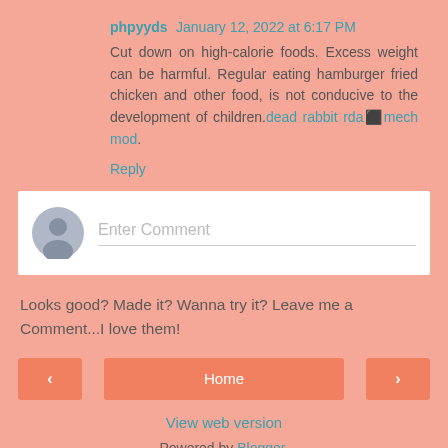phpyyds January 12, 2022 at 6:17 PM
Cut down on high-calorie foods. Excess weight can be harmful. Regular eating hamburger fried chicken and other food, is not conducive to the development of children.dead rabbit rda⬛mech mod.
Reply
[Figure (screenshot): Enter Comment input box with a gray avatar icon and placeholder text 'Enter Comment']
Looks good? Made it? Wanna try it? Leave me a Comment...I love them!
< Home > navigation buttons
View web version
Powered by Blogger.